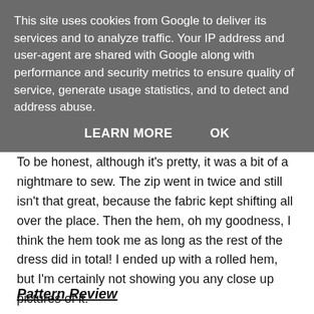This site uses cookies from Google to deliver its services and to analyze traffic. Your IP address and user-agent are shared with Google along with performance and security metrics to ensure quality of service, generate usage statistics, and to detect and address abuse.
LEARN MORE    OK
To be honest, although it's pretty, it was a bit of a nightmare to sew.  The zip went in twice and still isn't that great, because the fabric kept shifting all over the place.  Then the hem, oh my goodness, I think the hem took me as long as the rest of the dress did in total!  I ended up with a rolled hem, but I'm certainly not showing you any close up pictures of it.
So, as I love the pattern so much I thought I'd do you a proper little review.  Here goes:
Pattern Review